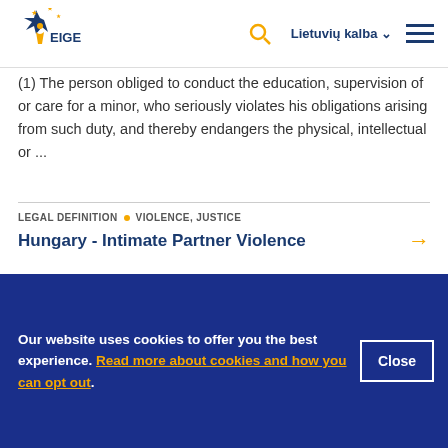EIGE | Lietuvių kalba
(1) The person obliged to conduct the education, supervision of or care for a minor, who seriously violates his obligations arising from such duty, and thereby endangers the physical, intellectual or ...
LEGAL DEFINITION • VIOLENCE, JUSTICE
Hungary - Intimate Partner Violence
No criminal offense by itself, but an aggravating feature.
LEGAL DEFINITION • VIOLENCE, JUSTICE
Hungary - Rape
Our website uses cookies to offer you the best experience. Read more about cookies and how you can opt out.